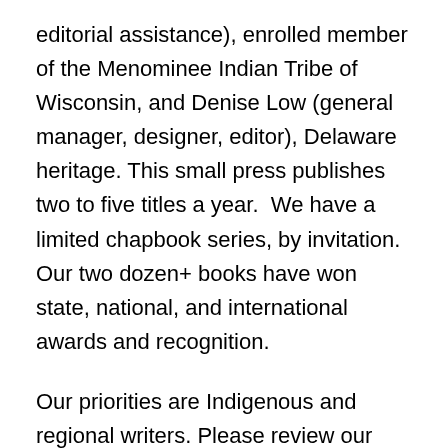editorial assistance), enrolled member of the Menominee Indian Tribe of Wisconsin, and Denise Low (general manager, designer, editor), Delaware heritage. This small press publishes two to five titles a year.  We have a limited chapbook series, by invitation. Our two dozen+ books have won state, national, and international awards and recognition.
Our priorities are Indigenous and regional writers. Please review our catalogue before submitting. Our authors receive a contract with royalties, promotion, and listing on our website.   Most of our standard-size books, paper and electronic, are distributed through Amazon.com, Barnes & Noble, and listed in Lord and Taylor.
Listen to an interview with Tom and Denise on Lawrencehits.com Internet Radio, a podcast recorded 28